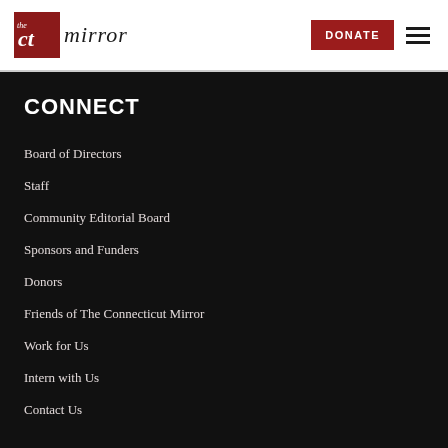The CT Mirror — DONATE [menu]
CONNECT
Board of Directors
Staff
Community Editorial Board
Sponsors and Funders
Donors
Friends of The Connecticut Mirror
Work for Us
Intern with Us
Contact Us